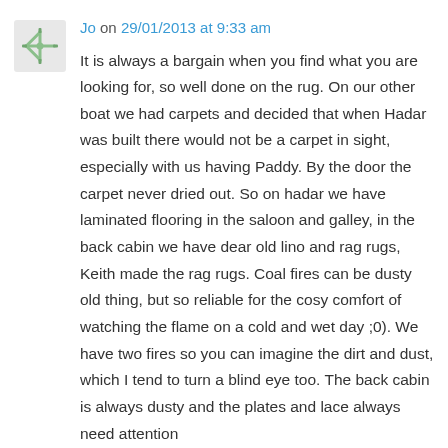Jo on 29/01/2013 at 9:33 am
It is always a bargain when you find what you are looking for, so well done on the rug. On our other boat we had carpets and decided that when Hadar was built there would not be a carpet in sight, especially with us having Paddy. By the door the carpet never dried out. So on hadar we have laminated flooring in the saloon and galley, in the back cabin we have dear old lino and rag rugs, Keith made the rag rugs. Coal fires can be dusty old thing, but so reliable for the cosy comfort of watching the flame on a cold and wet day ;0). We have two fires so you can imagine the dirt and dust, which I tend to turn a blind eye too. The back cabin is always dusty and the plates and lace always need attention